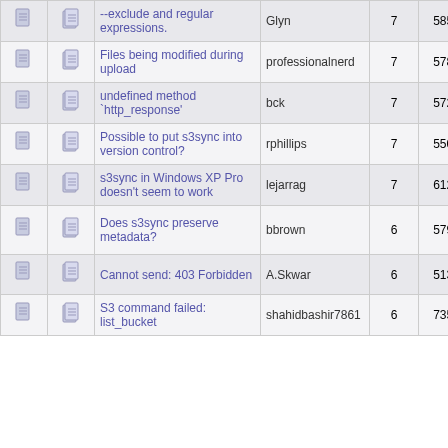|  |  | Topic | Author | Replies | Views | Last Post |
| --- | --- | --- | --- | --- | --- | --- |
|  |  | --exclude and regular expressions. | Glyn | 7 | 5851 | October 2007, 04:46: by mae |
|  |  | Files being modified during upload | professionalnerd | 7 | 5787 | May 05 09:46: by ferri |
|  |  | undefined method `http_response' | bck | 7 | 5721 | August 2007, 07:06: by ferri |
|  |  | Possible to put s3sync into version control? | rphillips | 7 | 5507 | March 2008, 10:02: by rphi |
|  |  | s3sync in Windows XP Pro doesn't seem to work | lejarrag | 7 | 6122 | May 29 04:51: by leja |
|  |  | Does s3sync preserve metadata? | bbrown | 6 | 5798 | May 04 09:29: by profess |
|  |  | Cannot send: 403 Forbidden | A.Skwar | 6 | 5138 | August 2007, 05:46: by A.Sk |
|  |  | S3 command failed: list_bucket | shahidbashir7861 | 6 | 7354 | July 26 04:26: |